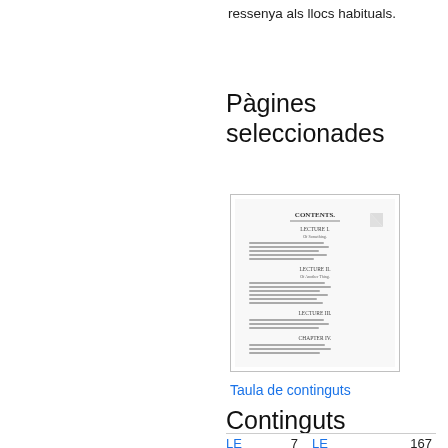ressenya als llocs habituals.
Pàgines seleccionades
[Figure (other): Thumbnail of a table of contents page from a book]
Taula de continguts
Continguts
| LE | 7 | LE | 167 |
| LE | 25 | LE | 311 |